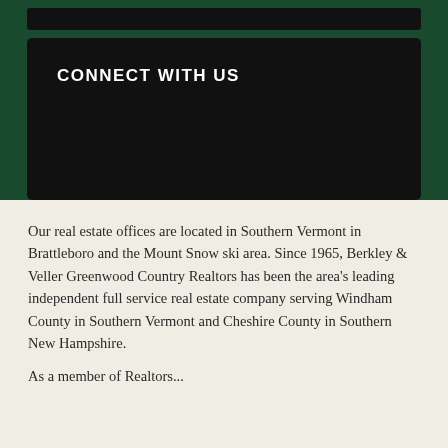CONNECT WITH US
Our real estate offices are located in Southern Vermont in Brattleboro and the Mount Snow ski area. Since 1965, Berkley & Veller Greenwood Country Realtors has been the area's leading independent full service real estate company serving Windham County in Southern Vermont and Cheshire County in Southern New Hampshire.
As a member of Realtors...